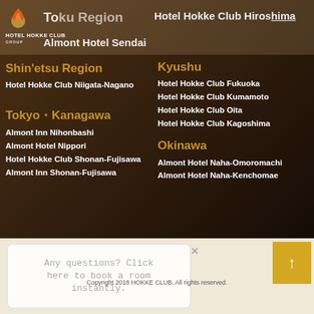Tohoku Region | Hotel Hokke Club Hiroshima | Almont Hotel Sendai
Shin'etsu Region
Hotel Hokke Club Niigata-Nagano
Tokyo・Kanagawa
Almont Inn Nihonbashi
Almont Hotel Nippori
Hotel Hokke Club Shonan-Fujisawa
Almont Inn Shonan-Fujisawa
Kyushu
Hotel Hokke Club Fukuoka
Hotel Hokke Club Kumamoto
Hotel Hokke Club Oita
Hotel Hokke Club Kagoshima
Okinawa
Almont Hotel Naha-Omoromachi
Almont Hotel Naha-Kenchomae
Copyright 2018 HOKKE CLUB. All rights reserved.